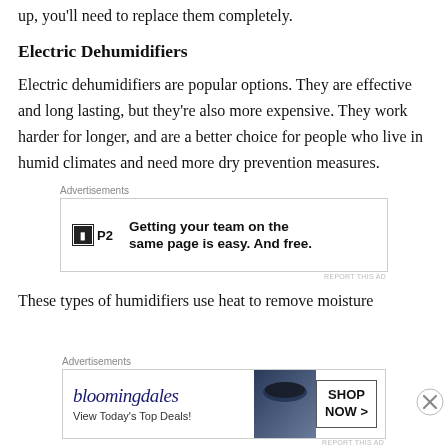up, you'll need to replace them completely.
Electric Dehumidifiers
Electric dehumidifiers are popular options. They are effective and long lasting, but they're also more expensive. They work harder for longer, and are a better choice for people who live in humid climates and need more dry prevention measures.
[Figure (other): Advertisement banner for P2 with text: Getting your team on the same page is easy. And free.]
These types of humidifiers use heat to remove moisture
[Figure (other): Advertisement banner for Bloomingdale's: View Today's Top Deals! SHOP NOW >]